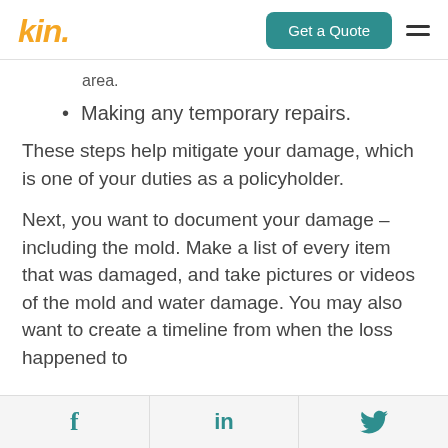kin. | Get a Quote | menu
area.
Making any temporary repairs.
These steps help mitigate your damage, which is one of your duties as a policyholder.
Next, you want to document your damage – including the mold. Make a list of every item that was damaged, and take pictures or videos of the mold and water damage. You may also want to create a timeline from when the loss happened to
f | in | twitter